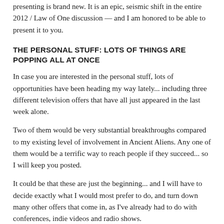presenting is brand new. It is an epic, seismic shift in the entire 2012 / Law of One discussion — and I am honored to be able to present it to you.
THE PERSONAL STUFF: LOTS OF THINGS ARE POPPING ALL AT ONCE
In case you are interested in the personal stuff, lots of opportunities have been heading my way lately... including three different television offers that have all just appeared in the last week alone.
Two of them would be very substantial breakthroughs compared to my existing level of involvement in Ancient Aliens. Any one of them would be a terrific way to reach people if they succeed... so I will keep you posted.
It could be that these are just the beginning... and I will have to decide exactly what I would most prefer to do, and turn down many other offers that come in, as I've already had to do with conferences, indie videos and radio shows.